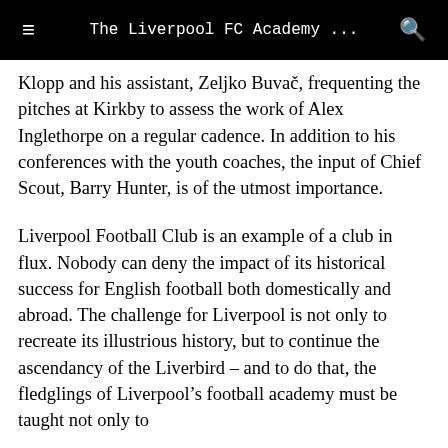The Liverpool FC Academy …
Klopp and his assistant, Zeljko Buvač, frequenting the pitches at Kirkby to assess the work of Alex Inglethorpe on a regular cadence. In addition to his conferences with the youth coaches, the input of Chief Scout, Barry Hunter, is of the utmost importance.
Liverpool Football Club is an example of a club in flux. Nobody can deny the impact of its historical success for English football both domestically and abroad. The challenge for Liverpool is not only to recreate its illustrious history, but to continue the ascendancy of the Liverbird – and to do that, the fledglings of Liverpool's football academy must be taught not only to